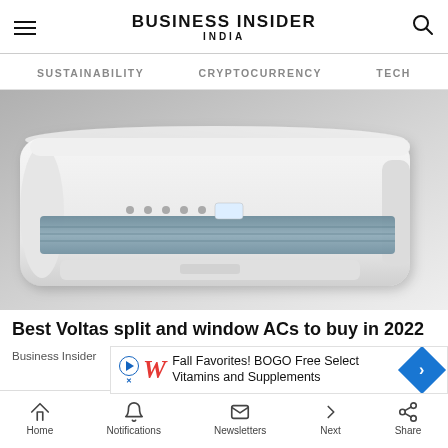BUSINESS INSIDER INDIA
SUSTAINABILITY   CRYPTOCURRENCY   TECH
[Figure (photo): White Voltas split air conditioner unit mounted on wall, shown from a front-angled perspective against a grey gradient background]
Best Voltas split and window ACs to buy in 2022
Business Insider India
[Figure (other): Advertisement: Fall Favorites! BOGO Free Select Vitamins and Supplements — Walgreens ad with blue arrow icon]
Home   Notifications   Newsletters   Next   Share